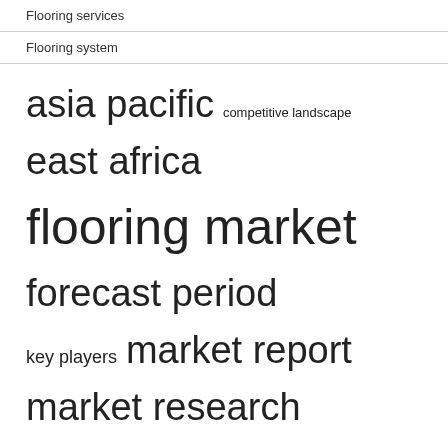Flooring services
Flooring system
[Figure (infographic): Tag cloud with flooring/market research related terms in varying sizes: asia pacific, competitive landscape, east africa, flooring market, forecast period, key players, market report, market research, market segmentation, market share, market size, middle east, north america, research report, united states]
RECENT POSTS
PaydayNow: What to look for when purchasing an investment property